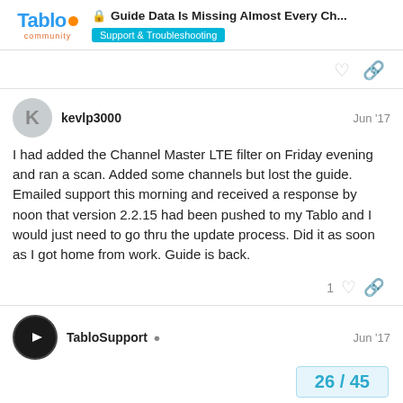Guide Data Is Missing Almost Every Ch... | Support & Troubleshooting | Tablo community
kevlp3000 Jun '17
I had added the Channel Master LTE filter on Friday evening and ran a scan. Added some channels but lost the guide. Emailed support this morning and received a response by noon that version 2.2.15 had been pushed to my Tablo and I would just need to go thru the update process. Did it as soon as I got home from work. Guide is back.
TabloSupport Jun '17
26 / 45